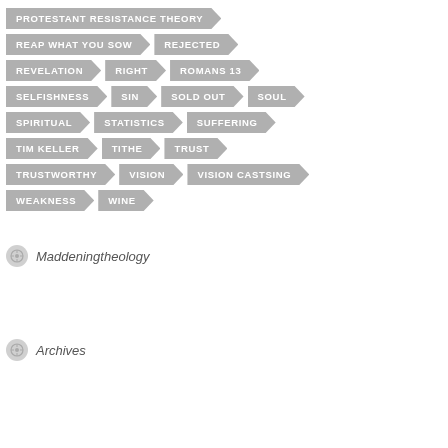PROTESTANT RESISTANCE THEORY
REAP WHAT YOU SOW · REJECTED
REVELATION · RIGHT · ROMANS 13
SELFISHNESS · SIN · SOLD OUT · SOUL
SPIRITUAL · STATISTICS · SUFFERING
TIM KELLER · TITHE · TRUST
TRUSTWORTHY · VISION · VISION CASTSING
WEAKNESS · WINE
Maddeningtheology
Archives